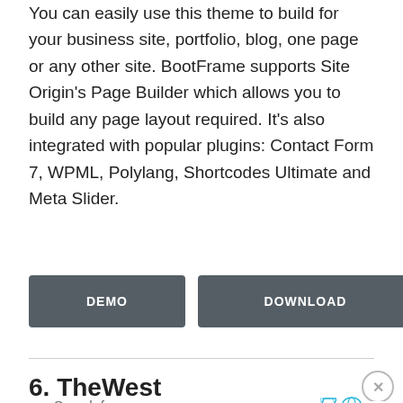You can easily use this theme to build for your business site, portfolio, blog, one page or any other site. BootFrame supports Site Origin's Page Builder which allows you to build any page layout required. It's also integrated with popular plugins: Contact Form 7, WPML, Polylang, Shortcodes Ultimate and Meta Slider.
[Figure (other): Two dark gray buttons labeled DEMO and DOWNLOAD]
6. TheWest
[Figure (screenshot): Advertisement bar with 'Search for' text, icons, and 'FREE RESPONSIVE WORDPRESS THEMES' button with arrow, overlaid on a partial website screenshot]